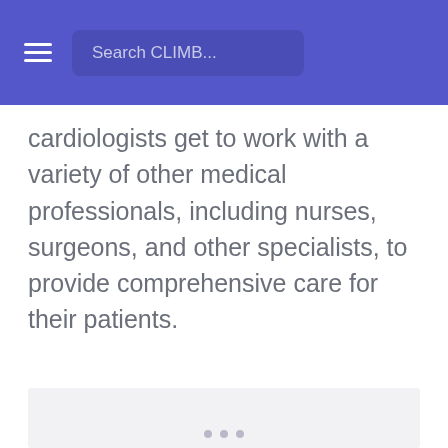Search CLIMB...
cardiologists get to work with a variety of other medical professionals, including nurses, surgeons, and other specialists, to provide comprehensive care for their patients.
[Figure (other): Light gray placeholder image block with three small dots at the bottom center, indicating a loading or empty image area.]